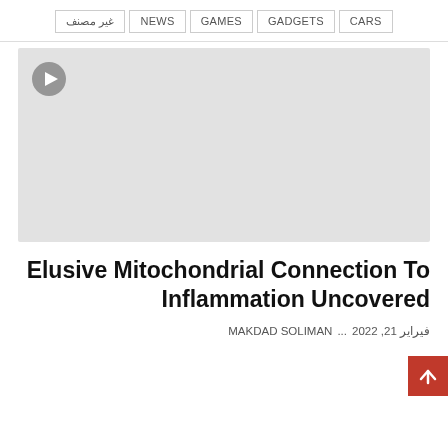غير مصنف  NEWS  GAMES  GADGETS  CARS
[Figure (other): Video thumbnail placeholder with play button icon, light grey background]
Elusive Mitochondrial Connection To Inflammation Uncovered
MAKDAD SOLIMAN ... فيراير 21, 2022